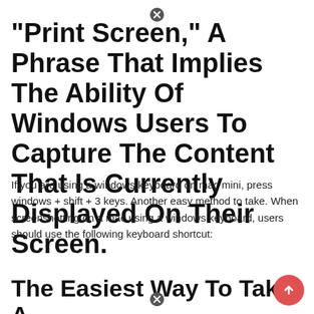“Print Screen,” A Phrase That Implies The Ability Of Windows Users To Capture The Content That Is Currently Displayed On Their Screen.
If you are using a windows keyboard on mac mini, press windows + shift + 3 keys. Another easy method to take. When screenshotting on a mac using a windows keyboard, users should use the following keyboard shortcut:
The Easiest Way To Take A